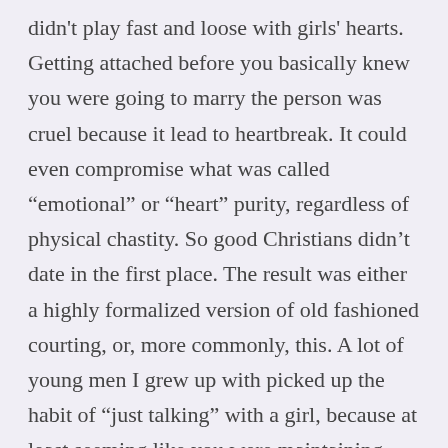didn't play fast and loose with girls' hearts. Getting attached before you basically knew you were going to marry the person was cruel because it lead to heartbreak. It could even compromise what was called “emotional” or “heart” purity, regardless of physical chastity. So good Christians didn’t date in the first place. The result was either a highly formalized version of old fashioned courting, or, more commonly, this. A lot of young men I grew up with picked up the habit of “just talking” with a girl, because at least seeming like you were maintaining emotional distance until you were ready to propose had become the standard of propriety. Like I’ve said I don’t know Catholic circles that